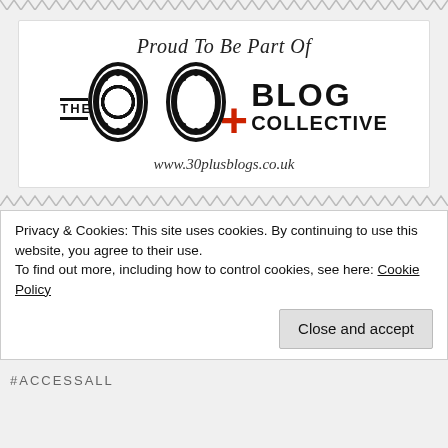[Figure (logo): 30+ Blog Collective badge: 'Proud To Be Part Of THE 30+ BLOG COLLECTIVE www.30plusblogs.co.uk' on white background with decorative zigzag borders]
Privacy & Cookies: This site uses cookies. By continuing to use this website, you agree to their use.
To find out more, including how to control cookies, see here: Cookie Policy
Close and accept
#ACCESSALL